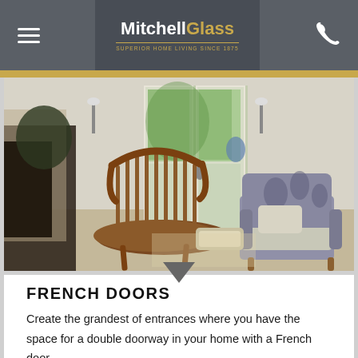MitchellGlass — Superior Home Living Since 1875
[Figure (photo): Interior living room with wooden Windsor chair in foreground, patterned armchair, and white French doors open to garden in background]
FRENCH DOORS
Create the grandest of entrances where you have the space for a double doorway in your home with a French door